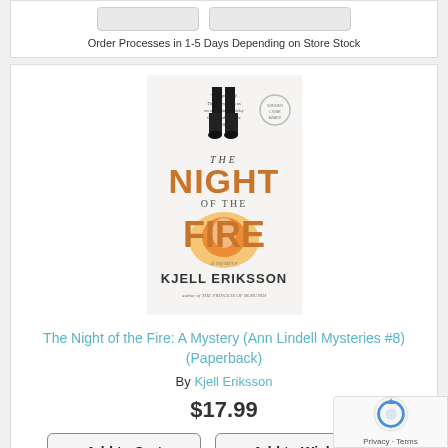[Figure (screenshot): Partial top of previous book listing showing two placeholder buttons and order processing text]
Order Processes in 1-5 Days Depending on Store Stock
[Figure (photo): Book cover of 'The Night of the Fire' by Kjell Eriksson showing a figure's legs and fire imagery on white background]
The Night of the Fire: A Mystery (Ann Lindell Mysteries #8) (Paperback)
By Kjell Eriksson
$17.99
Add to Cart
Add to Wish List
Order Processes in 1-5 Days Depending on Store Stock
[Figure (photo): Partial book cover showing a dark forest scene, bottom of the page]